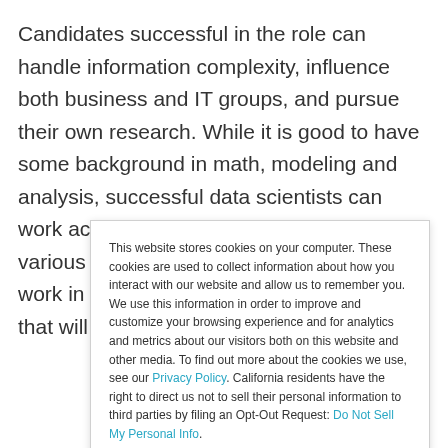Candidates successful in the role can handle information complexity, influence both business and IT groups, and pursue their own research. While it is good to have some background in math, modeling and analysis, successful data scientists can work across the organization and influence various business entities. It is this ability to work in technology and push collaboration that will help data scientists succeed.
This website stores cookies on your computer. These cookies are used to collect information about how you interact with our website and allow us to remember you. We use this information in order to improve and customize your browsing experience and for analytics and metrics about our visitors both on this website and other media. To find out more about the cookies we use, see our Privacy Policy. California residents have the right to direct us not to sell their personal information to third parties by filing an Opt-Out Request: Do Not Sell My Personal Info.